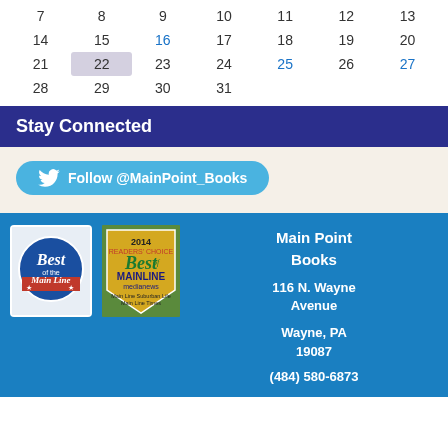| 7 | 8 | 9 | 10 | 11 | 12 | 13 |
| 14 | 15 | 16 | 17 | 18 | 19 | 20 |
| 21 | 22 | 23 | 24 | 25 | 26 | 27 |
| 28 | 29 | 30 | 31 |  |  |  |
Stay Connected
[Figure (other): Twitter Follow button: Follow @MainPoint_Books]
[Figure (other): Best of the Main Line award badge]
[Figure (other): 2014 Readers Choice Best of Mainline medianews – Main Line Suburban Life, Main Line Times award badge]
Main Point Books
116 N. Wayne Avenue
Wayne, PA 19087
(484) 580-6873